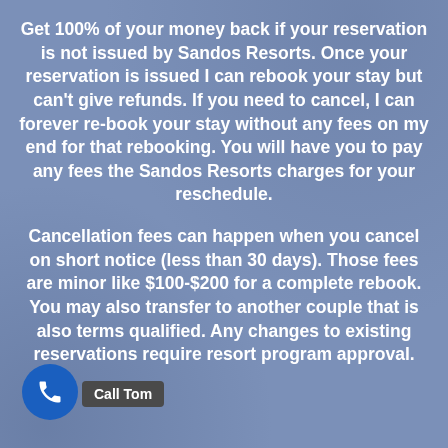Get 100% of your money back if your reservation is not issued by Sandos Resorts. Once your reservation is issued I can rebook your stay but can't give refunds. If you need to cancel, I can forever re-book your stay without any fees on my end for that rebooking. You will have you to pay any fees the Sandos Resorts charges for your reschedule.
Cancellation fees can happen when you cancel on short notice (less than 30 days). Those fees are minor like $100-$200 for a complete rebook. You may also transfer to another couple that is also terms qualified. Any changes to existing reservations require resort program approval.